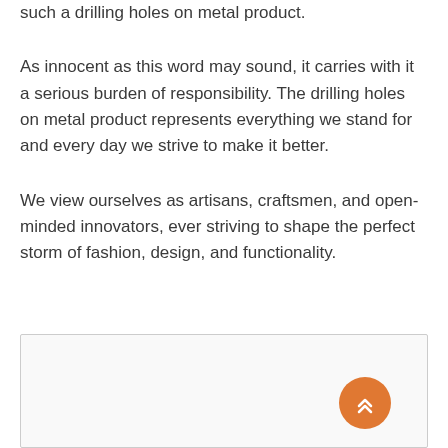such a drilling holes on metal product.
As innocent as this word may sound, it carries with it a serious burden of responsibility. The drilling holes on metal product represents everything we stand for and every day we strive to make it better.
We view ourselves as artisans, craftsmen, and open-minded innovators, ever striving to shape the perfect storm of fashion, design, and functionality.
[Figure (other): A light gray box area at the bottom of the page with an orange circular floating action button containing upward chevron arrows in the lower right corner.]